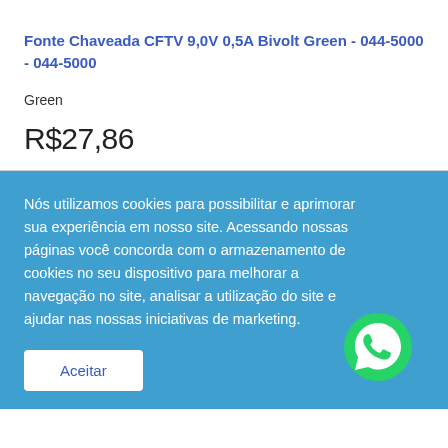Fonte Chaveada CFTV 9,0V 0,5A Bivolt Green - 044-5000 - 044-5000
Green
R$27,86
Nós utilizamos cookies para possibilitar e aprimorar sua experiência em nosso site. Acessando nossas páginas você concorda com o armazenamento de cookies no seu dispositivo para melhorar a navegação no site, analisar a utilização do site e ajudar nas nossas iniciativas de marketing.
Aceitar
[Figure (logo): WhatsApp green icon with phone handset]